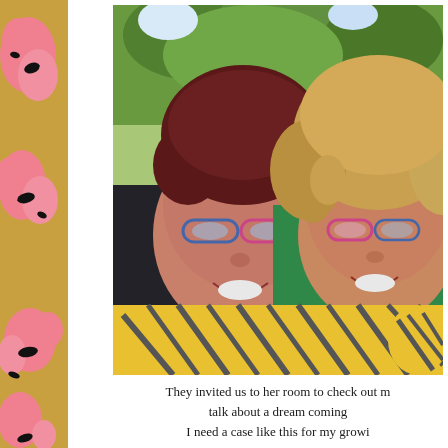[Figure (illustration): Left decorative stripe with gold/tan background, pink blob shapes, and black squiggly marks arranged vertically]
[Figure (photo): Two women smiling closely together for a selfie photo outdoors. Both wearing decorative glasses. One has short reddish-brown hair and a chain necklace; the other has long curly blonde/brown hair. Green foliage in background. Tiger-striped fabric visible at bottom of frame.]
They invited us to her room to check out m talk about a dream coming I need a case like this for my growi